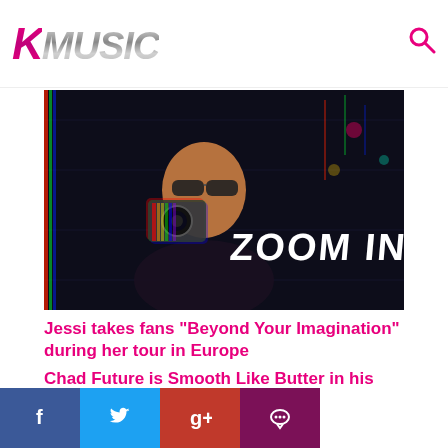KMUSIC
[Figure (photo): A person holding a camera up to their face with colorful chromatic aberration effects and 'ZOOM IN' text overlay on a dark background]
Jessi takes fans “Beyond Your Imagination” during her tour in Europe
Chad Future is Smooth Like Butter in his New Cover
[Figure (infographic): Social media share bar with Facebook, Twitter, Google+, and comment icons]